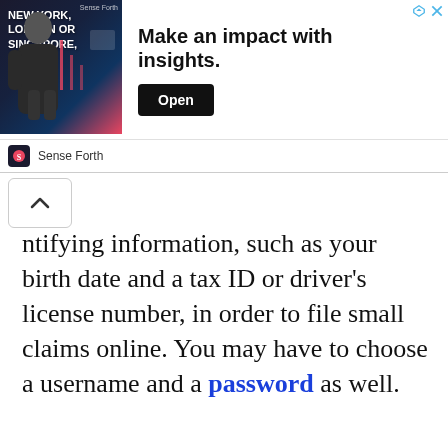[Figure (infographic): Advertisement banner: image of man in suit with text 'NEW YORK, LONDON OR SINGAPORE,' on dark background, headline 'Make an impact with insights.' and Open button, with Sense Forth branding below]
ntifying information, such as your birth date and a tax ID or driver’s license number, in order to file small claims online. You may have to choose a username and a password as well.